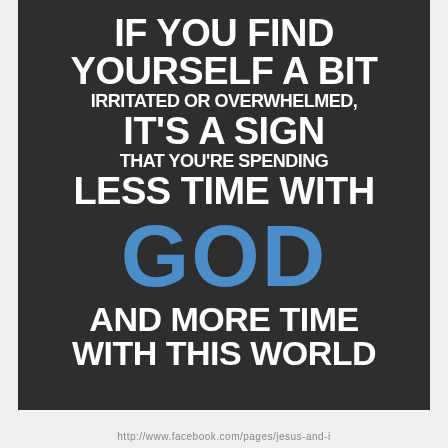[Figure (infographic): Dark background motivational/religious quote image with white and blue bold text reading: 'IF YOU FIND YOURSELF A BIT IRRITATED OR OVERWHELMED, IT'S A SIGN THAT YOU'RE SPENDING LESS TIME WITH GOD AND MORE TIME WITH THIS WORLD']
http://www.facebook.com/pages/jesus-and-i